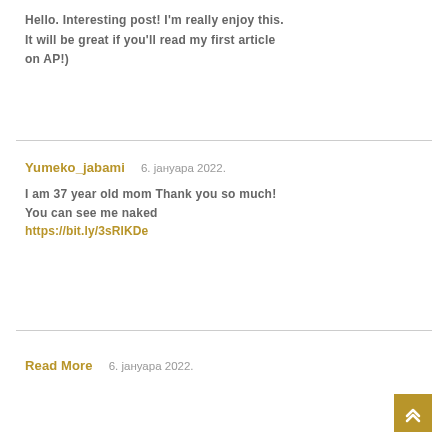Hello. Interesting post! I'm really enjoy this. It will be great if you'll read my first article on AP!)
Yumeko_jabami   6. јануара 2022.
I am 37 year old mom Thank you so much! You can see me naked
https://bit.ly/3sRIKDe
Read More   6. јануара 2022.